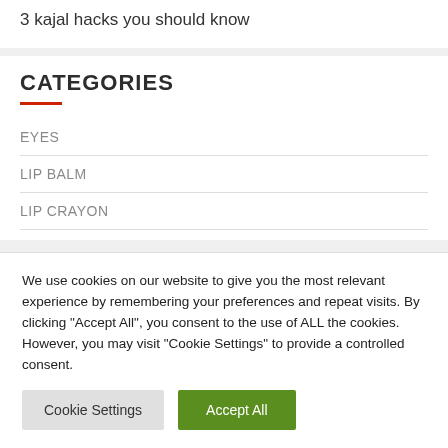3 kajal hacks you should know
CATEGORIES
EYES
LIP BALM
LIP CRAYON
We use cookies on our website to give you the most relevant experience by remembering your preferences and repeat visits. By clicking “Accept All”, you consent to the use of ALL the cookies. However, you may visit “Cookie Settings” to provide a controlled consent.